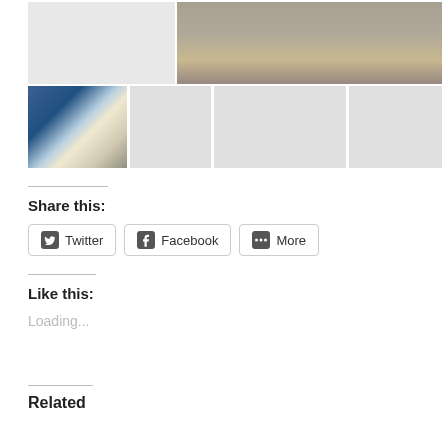[Figure (photo): Gallery top row: left placeholder (gray), right outdoor photo of people standing on a brick surface in sunlight]
[Figure (photo): Gallery bottom row: leftmost photo shows two people in masks standing in front of colorful space-themed artwork; three gray placeholder images follow]
Share this:
[Figure (infographic): Share buttons: Twitter, Facebook, More]
Like this:
Loading...
Related